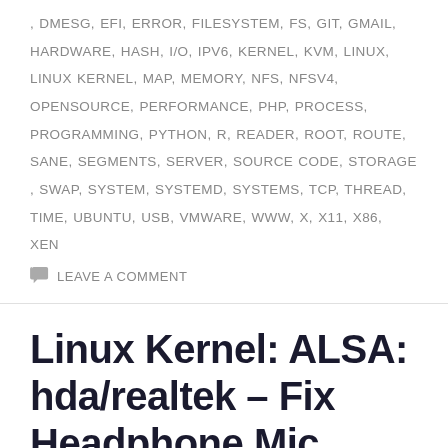, DMESG, EFI, ERROR, FILESYSTEM, FS, GIT, GMAIL, HARDWARE, HASH, I/O, IPV6, KERNEL, KVM, LINUX, LINUX KERNEL, MAP, MEMORY, NFS, NFSV4, OPENSOURCE, PERFORMANCE, PHP, PROCESS, PROGRAMMING, PYTHON, R, READER, ROOT, ROUTE, SANE, SEGMENTS, SERVER, SOURCE CODE, STORAGE, SWAP, SYSTEM, SYSTEMD, SYSTEMS, TCP, THREAD, TIME, UBUNTU, USB, VMWARE, WWW, X, X11, X86, XEN
LEAVE A COMMENT
Linux Kernel: ALSA: hda/realtek – Fix Headphone Mic…